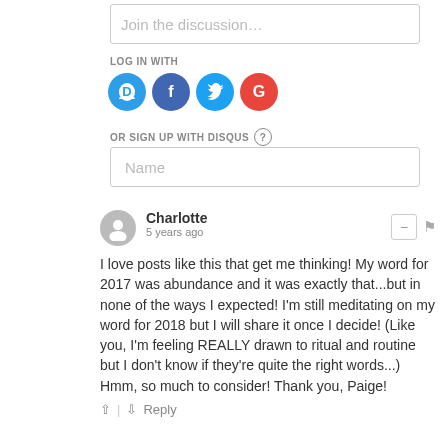Join the discussion…
LOG IN WITH
[Figure (logo): Social login icons: Disqus (D), Facebook (f), Twitter bird, Google (G)]
OR SIGN UP WITH DISQUS ?
Name
Charlotte
5 years ago
I love posts like this that get me thinking! My word for 2017 was abundance and it was exactly that...but in none of the ways I expected! I'm still meditating on my word for 2018 but I will share it once I decide! (Like you, I'm feeling REALLY drawn to ritual and routine but I don't know if they're quite the right words...) Hmm, so much to consider! Thank you, Paige!
Reply